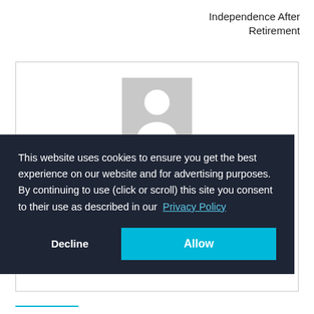Independence After Retirement
[Figure (illustration): A placeholder profile avatar image: grey background with a white silhouette of a person (head and shoulders).]
This website uses cookies to ensure you get the best experience on our website and for advertising purposes. By continuing to use (click or scroll) this site you consent to their use as described in our Privacy Policy
Decline
Allow